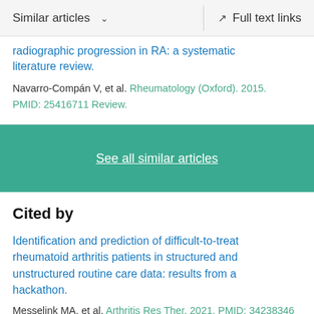Similar articles   ∨   | Full text links
radiographic progression in RA: a systematic literature review.
Navarro-Compán V, et al. Rheumatology (Oxford). 2015.
PMID: 25416711 Review.
See all similar articles
Cited by
Identification and prediction of difficult-to-treat rheumatoid arthritis patients in structured and unstructured routine care data: results from a hackathon.
Messelink MA, et al. Arthritis Res Ther. 2021. PMID: 34238346